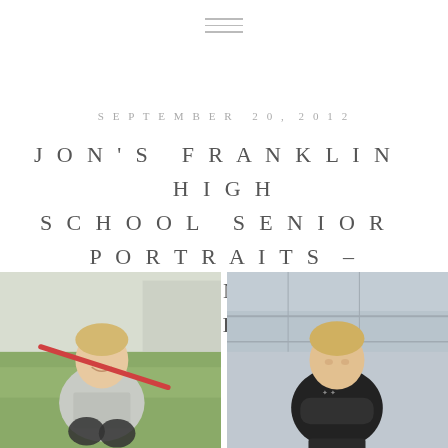SEPTEMBER 20, 2012
JON'S FRANKLIN HIGH SCHOOL SENIOR PORTRAITS – FRANKLIN & LEIPERS FORK
[Figure (photo): Two side-by-side outdoor senior portrait photos of a young blond male teenager. Left photo: subject crouching on a grass field wearing a gray 'Rebels Track & Field' t-shirt, holding a red javelin over his shoulder, smiling. Right photo: same subject standing with arms crossed wearing a black t-shirt, in front of a building with glass/metal architecture.]